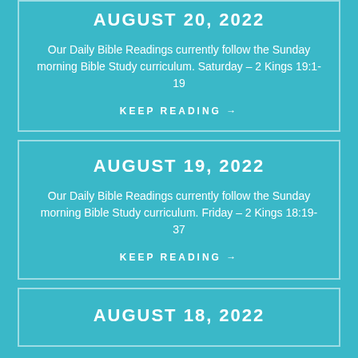AUGUST 20, 2022
Our Daily Bible Readings currently follow the Sunday morning Bible Study curriculum. Saturday – 2 Kings 19:1-19
KEEP READING →
AUGUST 19, 2022
Our Daily Bible Readings currently follow the Sunday morning Bible Study curriculum. Friday – 2 Kings 18:19-37
KEEP READING →
AUGUST 18, 2022